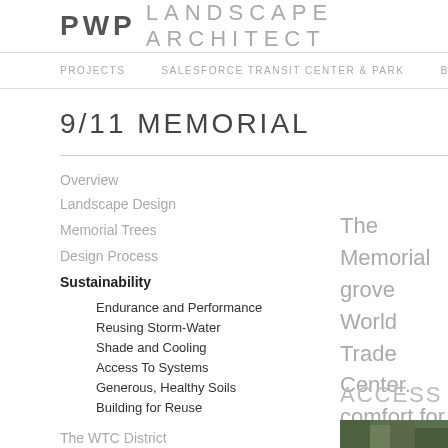PWP LANDSCAPE ARCHITECT
PROJECTS   SALESFORCE TRANSIT CENTER & PARK   BARANGARO
9/11 MEMORIAL
Overview
Landscape Design
Memorial Trees
Design Process
Sustainability
Endurance and Performance
Reusing Storm-Water
Shade and Cooling
Access To Systems
Generous, Healthy Soils
Building for Reuse
The WTC District
The Memorial grove... World Trade Center... comfort for visitors a... many leaves will co...
ACCESS TO SYST
[Figure (photo): Photo strip at bottom right showing greenery/trees]